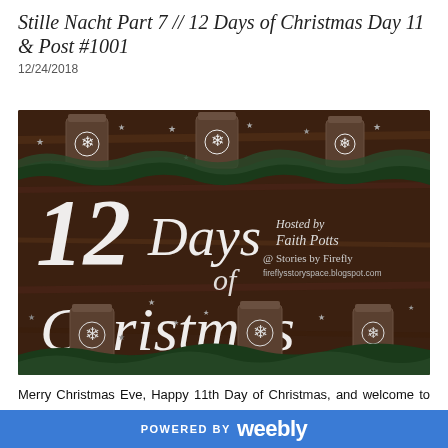Stille Nacht Part 7 // 12 Days of Christmas Day 11 & Post #1001
12/24/2018
[Figure (illustration): Decorative blog banner image for '12 Days of Christmas' event. Dark wood background with mason jars containing snowflake decorations and evergreen branches. Large white script text reads '12 Days of Christmas'. Right side shows 'Hosted by Faith Potts @ Stories by Firefly' and 'fireflysstoryspace.blogspot.com'.]
Merry Christmas Eve, Happy 11th Day of Christmas, and welcome to my official 100th post! Can't believe I've been blogging that long! So it's fitting to celebrate by giving you the next to last part